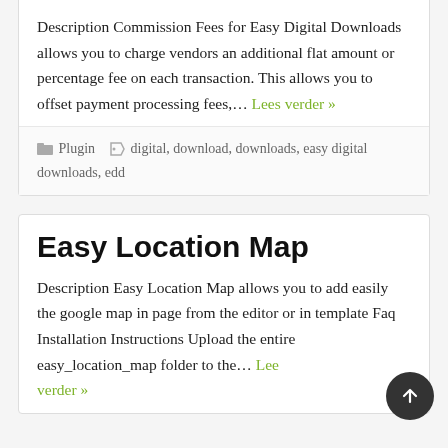Description Commission Fees for Easy Digital Downloads allows you to charge vendors an additional flat amount or percentage fee on each transaction. This allows you to offset payment processing fees,... Lees verder »
Plugin   digital, download, downloads, easy digital downloads, edd
Easy Location Map
Description Easy Location Map allows you to add easily the google map in page from the editor or in template Faq Installation Instructions Upload the entire easy_location_map folder to the... Lees verder »